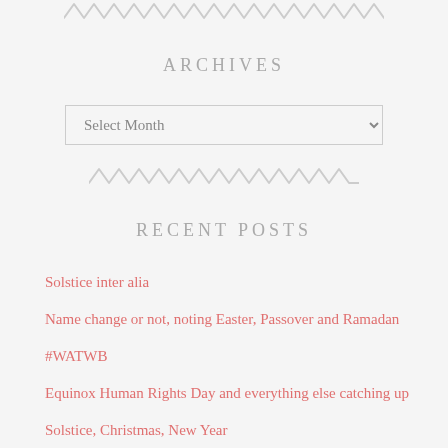[Figure (illustration): Decorative zigzag/wavy line divider at the top of the page]
ARCHIVES
Select Month (dropdown)
[Figure (illustration): Decorative zigzag/wavy line divider in the middle of the page]
RECENT POSTS
Solstice inter alia
Name change or not, noting Easter, Passover and Ramadan
#WATWB
Equinox Human Rights Day and everything else catching up
Solstice, Christmas, New Year